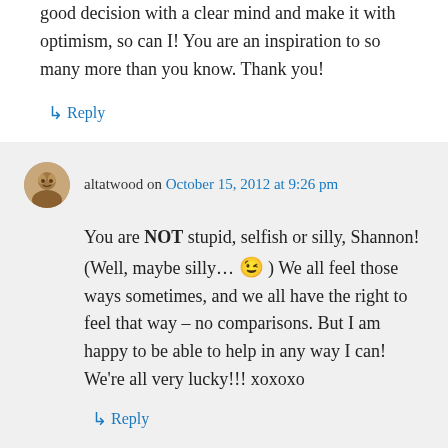good decision with a clear mind and make it with optimism, so can I! You are an inspiration to so many more than you know. Thank you!
↳ Reply
altatwood on October 15, 2012 at 9:26 pm
You are NOT stupid, selfish or silly, Shannon! (Well, maybe silly… 😉 ) We all feel those ways sometimes, and we all have the right to feel that way – no comparisons. But I am happy to be able to help in any way I can! We're all very lucky!!! xoxoxo
↳ Reply